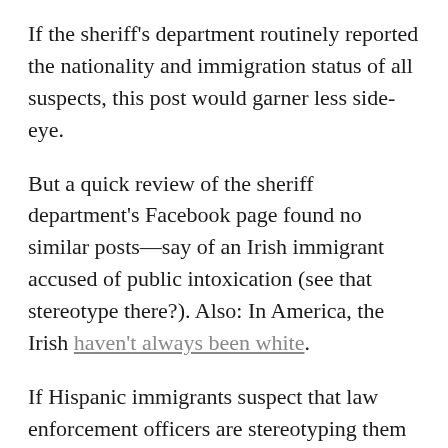If the sheriff's department routinely reported the nationality and immigration status of all suspects, this post would garner less side-eye.
But a quick review of the sheriff department's Facebook page found no similar posts—say of an Irish immigrant accused of public intoxication (see that stereotype there?). Also: In America, the Irish haven't always been white.
If Hispanic immigrants suspect that law enforcement officers are stereotyping them or that they won't be treated fairly, they're